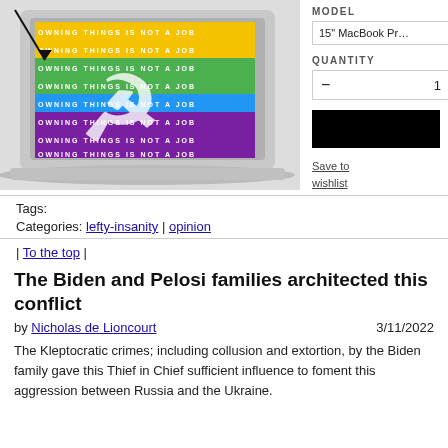[Figure (photo): Laptop with a rainbow-colored hammer and sickle sticker with text 'OWNING THINGS IS NOT A JOB' repeated in rows. An arrow points down to the sticker area.]
MODEL
15" MacBook Pr…
QUANTITY
- 1
Save to wishlist
Tags:
Categories: lefty-insanity | opinion
| To the top |
The Biden and Pelosi families architected this conflict
by Nicholas de Lioncourt   3/11/2022
The Kleptocratic crimes; including collusion and extortion, by the Biden family gave this Thief in Chief sufficient influence to foment this aggression between Russia and the Ukraine.